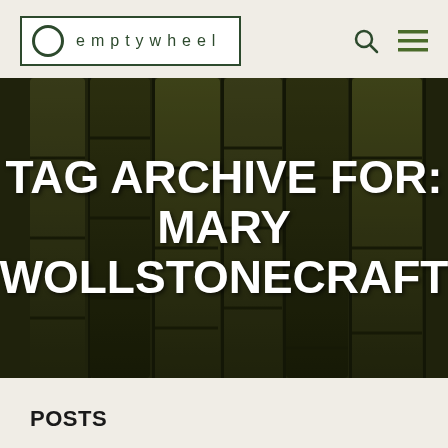emptywheel
[Figure (photo): Background photo of dark olive-green bamboo stalks, used as hero image behind the tag archive title text]
TAG ARCHIVE FOR: MARY WOLLSTONECRAFT
POSTS